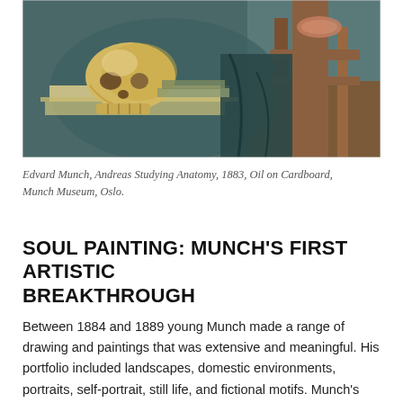[Figure (photo): A painting by Edvard Munch showing a skull resting on papers on a table, with a wooden chair and dark draped fabric in the background. The palette is warm ochre, teal, and brown tones.]
Edvard Munch, Andreas Studying Anatomy, 1883, Oil on Cardboard, Munch Museum, Oslo.
SOUL PAINTING: MUNCH'S FIRST ARTISTIC BREAKTHROUGH
Between 1884 and 1889 young Munch made a range of drawing and paintings that was extensive and meaningful. His portfolio included landscapes, domestic environments, portraits, self-portrait, still life, and fictional motifs. Munch's